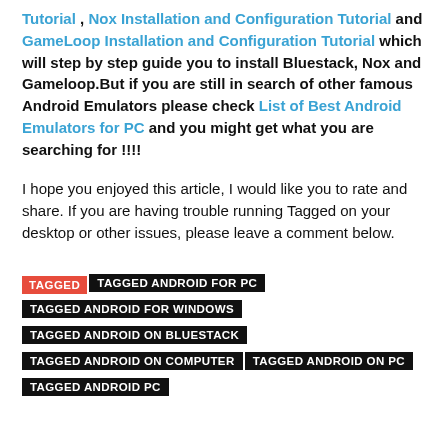Tutorial , Nox Installation and Configuration Tutorial and GameLoop Installation and Configuration Tutorial which will step by step guide you to install Bluestack, Nox and Gameloop.But if you are still in search of other famous Android Emulators please check List of Best Android Emulators for PC and you might get what you are searching for !!!!
I hope you enjoyed this article, I would like you to rate and share. If you are having trouble running Tagged on your desktop or other issues, please leave a comment below.
TAGGED  TAGGED ANDROID FOR PC  TAGGED ANDROID FOR WINDOWS  TAGGED ANDROID ON BLUESTACK  TAGGED ANDROID ON COMPUTER  TAGGED ANDROID ON PC  TAGGED ANDROID PC